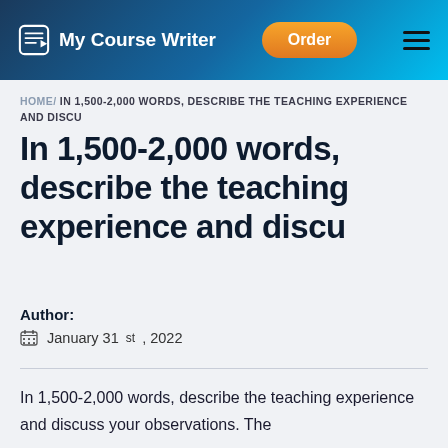My Course Writer | Order
HOME/ IN 1,500-2,000 WORDS, DESCRIBE THE TEACHING EXPERIENCE AND DISCU
In 1,500-2,000 words, describe the teaching experience and discu
Author:
January 31st, 2022
In 1,500-2,000 words, describe the teaching experience and discuss your observations. The